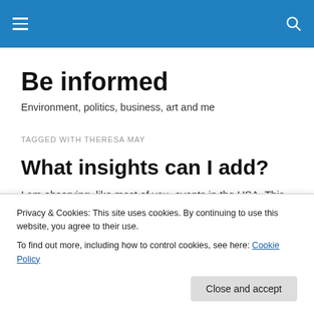Be informed [navigation bar with hamburger menu and search icon]
Be informed
Environment, politics, business, art and me
TAGGED WITH THERESA MAY
What insights can I add?
I am observing, like most of you, events in the USA. This
Privacy & Cookies: This site uses cookies. By continuing to use this website, you agree to their use.
To find out more, including how to control cookies, see here: Cookie Policy
Close and accept